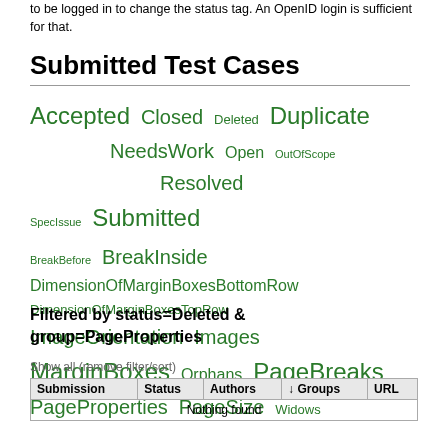to be logged in to change the status tag. An OpenID login is sufficient for that.
Submitted Test Cases
[Figure (infographic): Tag cloud showing test case statuses and groups in green text. Statuses (various sizes): Accepted, Closed, Deleted, Duplicate, NeedsWork, Open, OutOfScope, Resolved, SpecIssue, Submitted. Groups: BreakBefore, BreakInside, DimensionOfMarginBoxesBottomRow, DimensionOfMarginBoxesTopRow, ImageOrientation, Images, MarginBoxes, Orphans, PageBreaks, PageProperties, PageSize, Widows.]
Filtered by status=Deleted & group=PageProperties
Show all (remove filter/sort)
| Submission | Status | Authors | ↓ Groups | URL |
| --- | --- | --- | --- | --- |
| Nothing found |  |  |  |  |